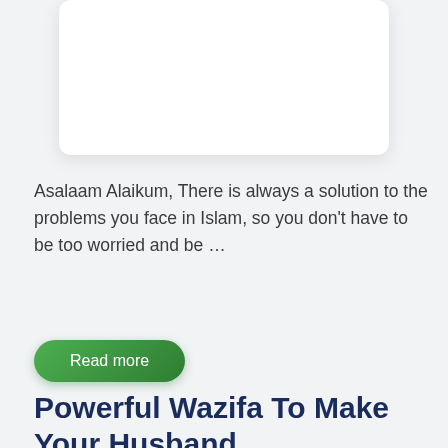[Figure (other): White rounded card/panel element partially visible at top of page]
Asalaam Alaikum, There is always a solution to the problems you face in Islam, so you don't have to be too worried and be ...
Read more
Powerful Wazifa To Make Your Husband